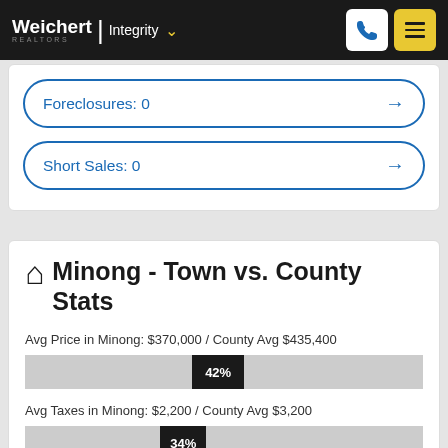Weichert | Integrity
Foreclosures: 0
Short Sales: 0
Minong - Town vs. County Stats
Avg Price in Minong: $370,000 / County Avg $435,400
[Figure (bar-chart): Avg Price comparison]
Avg Taxes in Minong: $2,200 / County Avg $3,200
[Figure (bar-chart): Avg Taxes comparison]